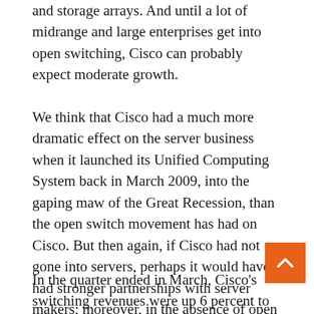and storage arrays. And until a lot of midrange and large enterprises get into open switching, Cisco can probably expect moderate growth.
We think that Cisco had a much more dramatic effect on the server business when it launched its Unified Computing System back in March 2009, into the gaping maw of the Great Recession, than the open switch movement has had on Cisco. But then again, if Cisco had not gone into servers, perhaps it would have had stronger partnerships with server makers; moreover, in the absence of open switches – some homegrown, others made by ODMs on command and relabeled by peddlers – Cisco might have been even more of a force in switching and routing.
In the quarter ended in March, Cisco's switching revenues were up 6 percent to $3.56 billion, and rose 11 percent in the prior year on a well-acknowledged data...